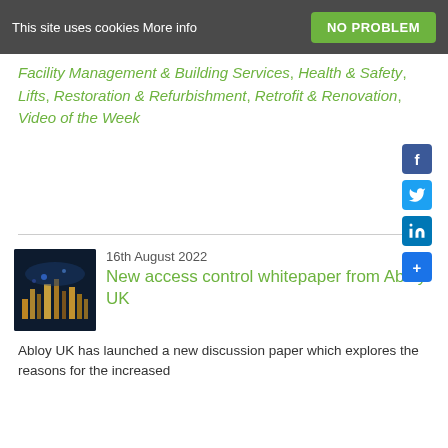This site uses cookies More info | NO PROBLEM
Facility Management & Building Services, Health & Safety, Lifts, Restoration & Refurbishment, Retrofit & Renovation, Video of the Week
[Figure (other): Social media share icons: Facebook, Twitter, LinkedIn, plus/share button]
16th August 2022
New access control whitepaper from Abloy UK
[Figure (photo): Thumbnail image of a cityscape at night with industrial lighting]
Abloy UK has launched a new discussion paper which explores the reasons for the increased